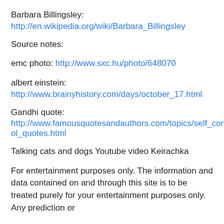Barbara Billingsley:
http://en.wikipedia.org/wiki/Barbara_Billingsley
Source notes:
emc photo: http://www.sxc.hu/photo/648070
albert einstein:
http://www.brainyhistory.com/days/october_17.html
Gandhi quote:
http://www.famousquotesandauthors.com/topics/self_control_quotes.html
Talking cats and dogs Youtube video Keirachka
For entertainment purposes only. The information and data contained on and through this site is to be treated purely for your entertainment purposes only. Any prediction or